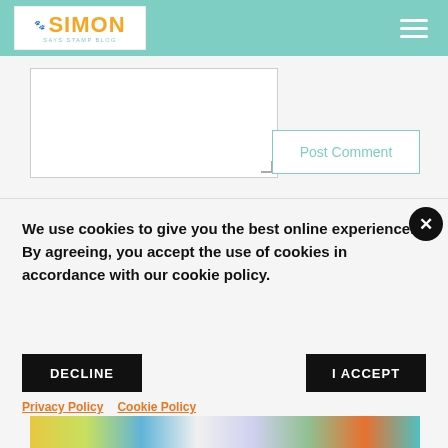Simon Says Stamp Blog
[Figure (logo): Simon Says Stamp Blog logo with French bulldog icon, orange text on white background, teal navigation bar with hamburger menu]
Post Comment
We use cookies to give you the best online experience. By agreeing, you accept the use of cookies in accordance with our cookie policy.
DECLINE
I ACCEPT
Privacy Policy  Cookie Policy
[Figure (photo): Bottom strip showing colorful crafting/stamping images]